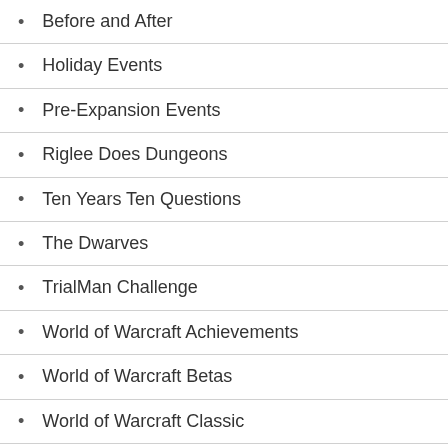Before and After
Holiday Events
Pre-Expansion Events
Riglee Does Dungeons
Ten Years Ten Questions
The Dwarves
TrialMan Challenge
World of Warcraft Achievements
World of Warcraft Betas
World of Warcraft Classic
World of Warcraft other